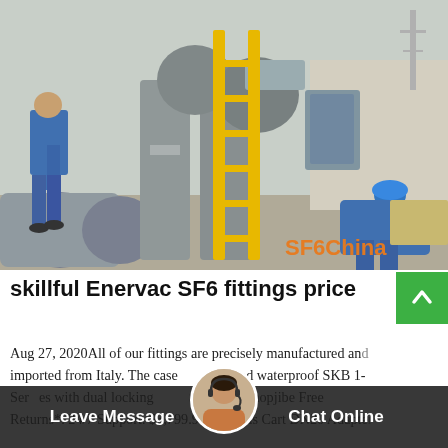[Figure (photo): Two workers in blue uniforms and hard hats working on large industrial SF6 gas equipment/pipes outdoors, using a yellow ladder. Watermark reads SF6China in orange.]
skillful Enervac SF6 fittings price
Aug 27, 2020All of our fittings are precisely manufactured and imported from Italy. The cases are rugged and waterproof SKB 1-Series cases with dual locking ... In Stock. Top Shopjibe Free Returns*. 24/7 Support. $3,799.99 SF6 Gas Cart DN20 Adapter
Leave Message   Chat Online